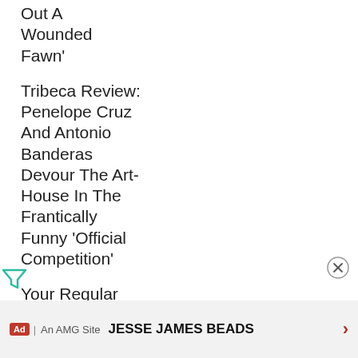Out A Wounded Fawn'
Tribeca Review: Penelope Cruz And Antonio Banderas Devour The Art-House In The Frantically Funny 'Official Competition'
Your Regular Reminder Of What We Lost When We Lost Chris C...
[Figure (other): Filter/funnel icon (teal/green)]
[Figure (other): Close (X) circle button]
JESSE JAMES BEADS  >  Ad | An AMG Site